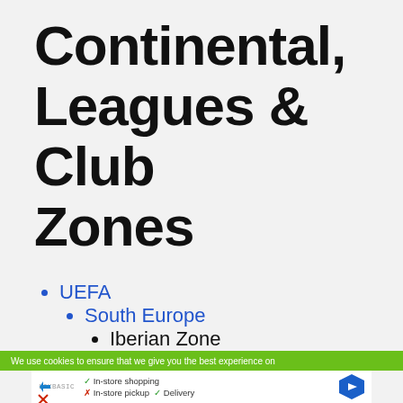Continental, Leagues & Club Zones
UEFA
South Europe
Iberian Zone
European Central / East
We use cookies to ensure that we give you the best experience on
[Figure (screenshot): Ad showing store info: In-store shopping (check), In-store pickup (cross), Delivery (check), with a navigation arrow icon and store logo]